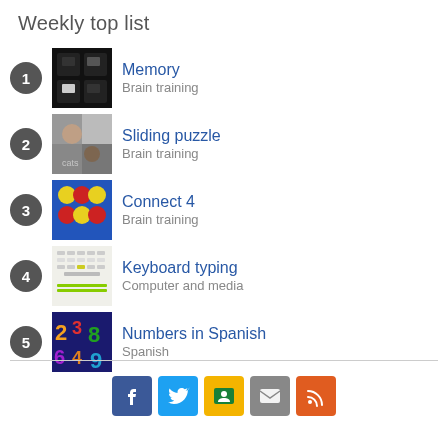Weekly top list
1. Memory — Brain training
2. Sliding puzzle — Brain training
3. Connect 4 — Brain training
4. Keyboard typing — Computer and media
5. Numbers in Spanish — Spanish
[Figure (infographic): Social media icons: Facebook, Twitter, Google Classroom, Email, RSS]
Copyright © 2022 Elevspel AB  Help center  Terms of use  Contact us  Privacy  Become a plus member